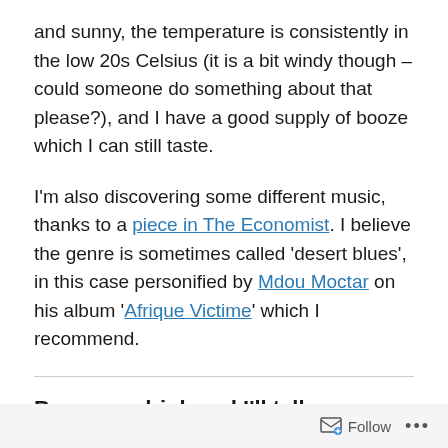and sunny, the temperature is consistently in the low 20s Celsius (it is a bit windy though – could someone do something about that please?), and I have a good supply of booze which I can still taste.
I'm also discovering some different music, thanks to a piece in The Economist. I believe the genre is sometimes called 'desert blues', in this case personified by Mdou Moctar on his album 'Afrique Victime' which I recommend.
Buy me a drink and I'll tell you some lies
£5.00